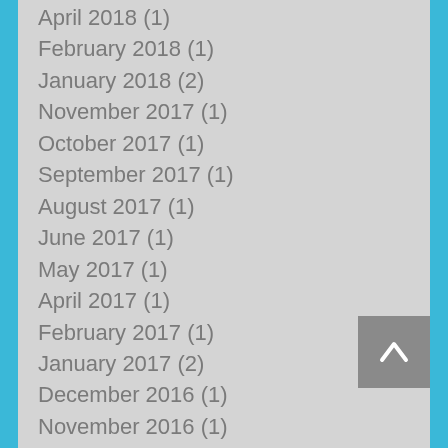April 2018 (1)
February 2018 (1)
January 2018 (2)
November 2017 (1)
October 2017 (1)
September 2017 (1)
August 2017 (1)
June 2017 (1)
May 2017 (1)
April 2017 (1)
February 2017 (1)
January 2017 (2)
December 2016 (1)
November 2016 (1)
October 2016 (1)
September 2016 (1)
August 2016 (1)